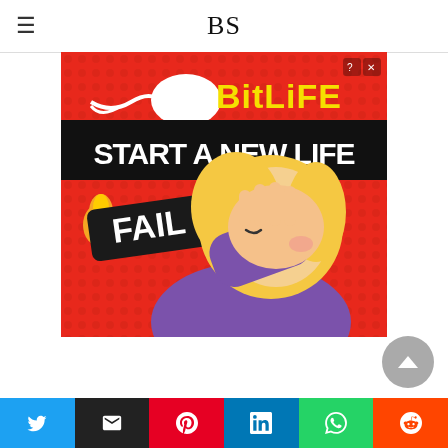BS
[Figure (illustration): BitLife mobile game advertisement with red dotted background. Shows a sperm emoji icon and 'BitLife' logo in yellow at top, 'START A NEW LIFE' text in bold white on black banner, and a cartoon blonde girl covering her face with a purple hoodie with a 'FAIL' speech bubble and a flame emoji.]
[Figure (other): Social sharing bar with Twitter (blue), Email (black), Pinterest (red), LinkedIn (blue), WhatsApp (green), and Reddit (orange) buttons.]